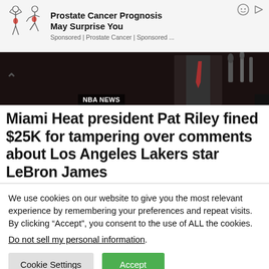[Figure (illustration): Advertisement banner with two illustrated human figures showing back/shoulder pain highlighted in red, with ad icons (smiley face and play button) in top right corner]
Prostate Cancer Prognosis May Surprise You
Sponsored | Prostate Cancer | Sponsored ...
[Figure (photo): News article header photo showing a person in a suit at a press conference with microphones, dark background. NBA NEWS label overlay at bottom left.]
Miami Heat president Pat Riley fined $25K for tampering over comments about Los Angeles Lakers star LeBron James
We use cookies on our website to give you the most relevant experience by remembering your preferences and repeat visits. By clicking “Accept”, you consent to the use of ALL the cookies.
Do not sell my personal information.
Cookie Settings    Accept